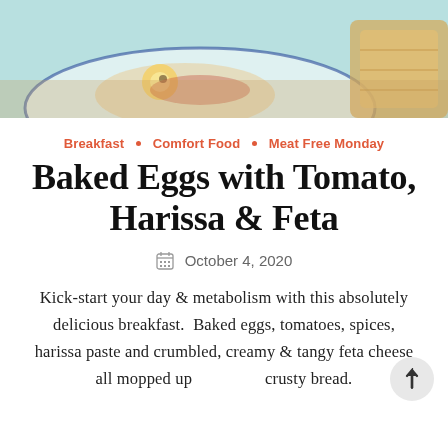[Figure (photo): Partial photo of baked eggs dish on a plate with bread visible, background is light teal/aqua colored surface]
Breakfast • Comfort Food • Meat Free Monday
Baked Eggs with Tomato, Harissa & Feta
October 4, 2020
Kick-start your day & metabolism with this absolutely delicious breakfast. Baked eggs, tomatoes, spices, harissa paste and crumbled, creamy & tangy feta cheese all mopped up crusty bread.